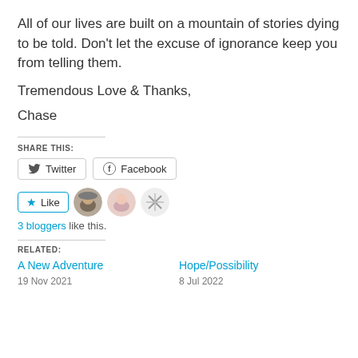All of our lives are built on a mountain of stories dying to be told. Don't let the excuse of ignorance keep you from telling them.
Tremendous Love & Thanks,
Chase
SHARE THIS:
[Figure (infographic): Twitter and Facebook share buttons]
[Figure (infographic): Like button with 3 blogger avatars]
3 bloggers like this.
RELATED:
A New Adventure
19 Nov 2021
Hope/Possibility
8 Jul 2022